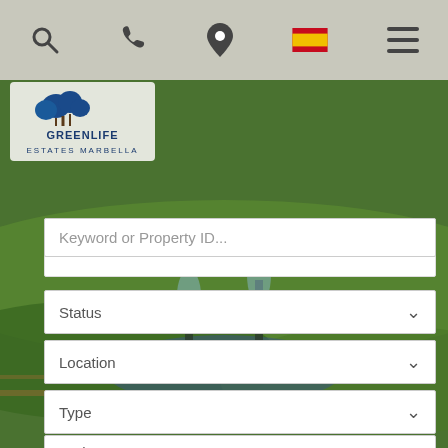[Figure (screenshot): Website header navigation bar with search icon, phone icon, location pin icon, Spanish flag icon, and hamburger menu icon]
[Figure (logo): Greenlife Estates Marbella logo with tree graphic and company name]
[Figure (photo): Background photo of a green golf course/garden landscape with water feature and fountain]
Keyword or Property ID...
Status
Location
Type
Bedrooms
Price (min)
Price (max)
Search